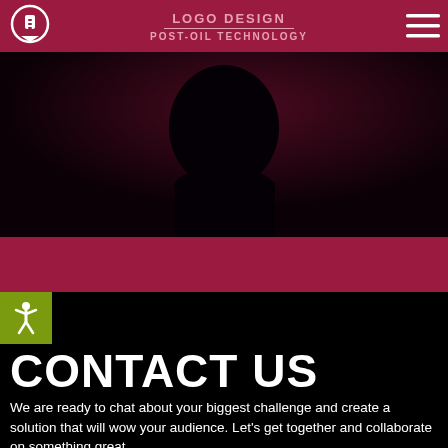LOGO DESIGN / POST-OIL TECHNOLOGY
[Figure (photo): Dark hero image with a silhouette of a person against a very dark crimson/black background.]
[Figure (logo): Accessibility icon — white stick figure with arms and legs spread on an olive/yellow-green square background.]
CONTACT US
We are ready to chat about your biggest challenge and create a solution that will wow your audience. Let's get together and collaborate on something great.
NAME